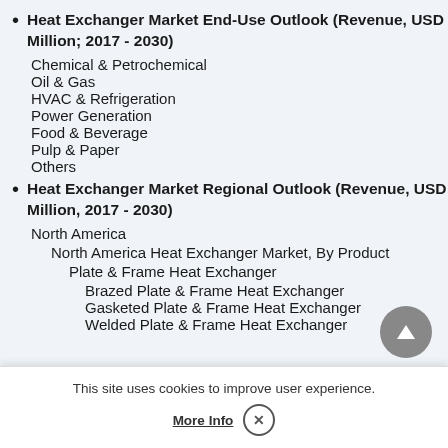Heat Exchanger Market End-Use Outlook (Revenue, USD Million; 2017 - 2030)
Chemical & Petrochemical
Oil & Gas
HVAC & Refrigeration
Power Generation
Food & Beverage
Pulp & Paper
Others
Heat Exchanger Market Regional Outlook (Revenue, USD Million, 2017 - 2030)
North America
North America Heat Exchanger Market, By Product
Plate & Frame Heat Exchanger
Brazed Plate & Frame Heat Exchanger
Gasketed Plate & Frame Heat Exchanger
Welded Plate & Frame Heat Exchanger
This site uses cookies to improve user experience.
More Info